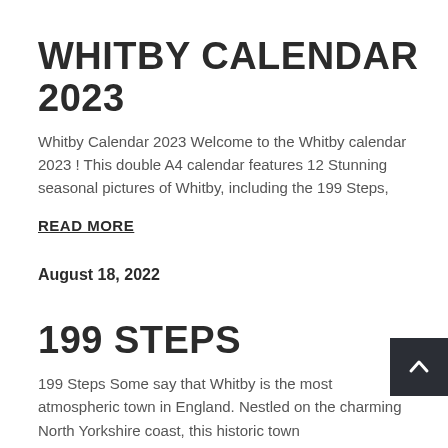WHITBY CALENDAR 2023
Whitby Calendar 2023 Welcome to the Whitby calendar 2023 ! This double A4 calendar features 12 Stunning seasonal pictures of Whitby, including the 199 Steps,
READ MORE
August 18, 2022
199 STEPS
199 Steps Some say that Whitby is the most atmospheric town in England. Nestled on the charming North Yorkshire coast, this historic town